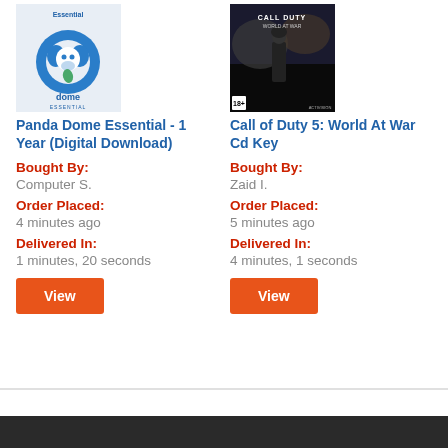[Figure (illustration): Panda Dome Essential antivirus software box art with blue circular logo and panda face]
Panda Dome Essential - 1 Year (Digital Download)
Bought By:
Computer S.
Order Placed:
4 minutes ago
Delivered In:
1 minutes, 20 seconds
View
[Figure (illustration): Call of Duty 5: World At War video game cover art showing soldier silhouette against dark wartime background]
Call of Duty 5: World At War Cd Key
Bought By:
Zaid I.
Order Placed:
5 minutes ago
Delivered In:
4 minutes, 1 seconds
View